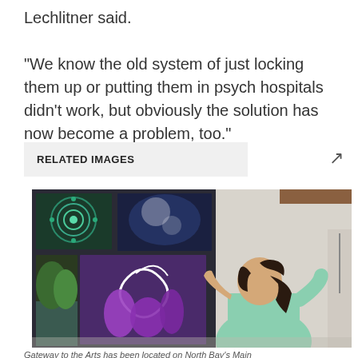Lechlitner said. "We know the old system of just locking them up or putting them in psych hospitals didn't work, but obviously the solution has now become a problem, too."
RELATED IMAGES
[Figure (photo): A person in a light blue/mint shirt with dark hair in a ponytail hanging artwork — a purple and white decorative painting — on a wall in an art gallery. Other paintings visible on the walls including nature scenes and abstract art.]
Gateway to the Arts has been located on North Bay's Main